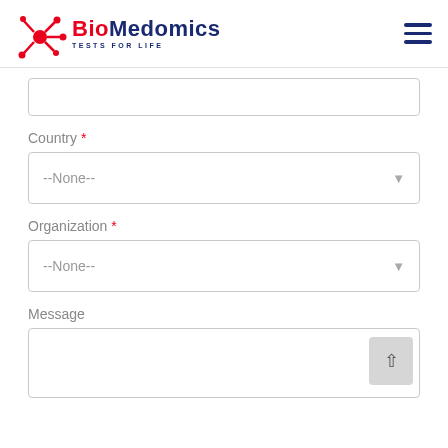[Figure (logo): BioMedomics logo with red molecular graphic, red 'Bio' and dark blue 'Medomics' text, tagline 'TESTS FOR LIFE']
Country *
--None--
Organization *
--None--
Message